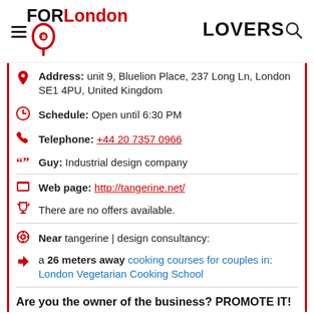FORLondon LOVERS
Address: unit 9, Bluelion Place, 237 Long Ln, London SE1 4PU, United Kingdom
Schedule: Open until 6:30 PM
Telephone: +44 20 7357 0966
Guy: Industrial design company
Web page: http://tangerine.net/
There are no offers available.
Near tangerine | design consultancy:
a 26 meters away cooking courses for couples in: London Vegetarian Cooking School
Are you the owner of the business? PROMOTE IT!